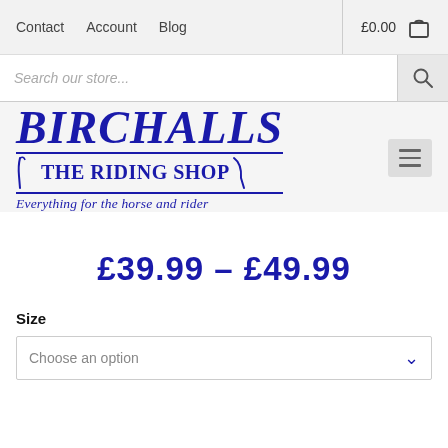Contact  Account  Blog  £0.00
Search our store...
[Figure (logo): Birchalls The Riding Shop logo with tagline: Everything for the horse and rider]
£39.99 – £49.99
Size
Choose an option